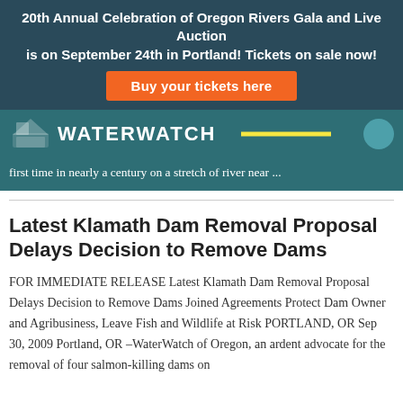20th Annual Celebration of Oregon Rivers Gala and Live Auction is on September 24th in Portland! Tickets on sale now!
Buy your tickets here
[Figure (logo): WaterWatch logo with stylized water/mountain icon on teal background]
first time in nearly a century on a stretch of river near ...
Latest Klamath Dam Removal Proposal Delays Decision to Remove Dams
FOR IMMEDIATE RELEASE Latest Klamath Dam Removal Proposal Delays Decision to Remove Dams Joined Agreements Protect Dam Owner and Agribusiness, Leave Fish and Wildlife at Risk PORTLAND, OR Sep 30, 2009 Portland, OR –WaterWatch of Oregon, an ardent advocate for the removal of four salmon-killing dams on